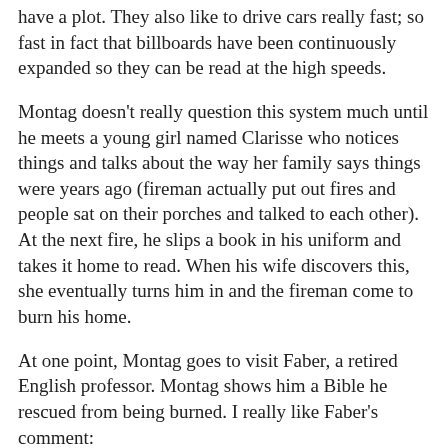have a plot. They also like to drive cars really fast; so fast in fact that billboards have been continuously expanded so they can be read at the high speeds.
Montag doesn't really question this system much until he meets a young girl named Clarisse who notices things and talks about the way her family says things were years ago (fireman actually put out fires and people sat on their porches and talked to each other). At the next fire, he slips a book in his uniform and takes it home to read. When his wife discovers this, she eventually turns him in and the fireman come to burn his home.
At one point, Montag goes to visit Faber, a retired English professor. Montag shows him a Bible he rescued from being burned. I really like Faber's comment:
"Do you know why books such as this are so important? Because they have quality. And what does the word quality mean? To me it means texture. This book has pores. It has features. This book can go under the microscope. You'd find life under the glass, streaming past in infinite profusion."